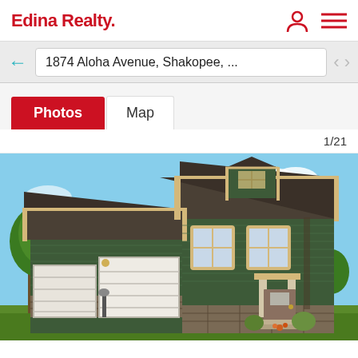Edina Realty.
1874 Aloha Avenue, Shakopee, ...
Photos | Map
1/21
[Figure (photo): Two-story house with dark green siding and cream trim, two-car garage, covered front porch entry, stone accents at base, photographed from front exterior. Rendering/illustration style image.]